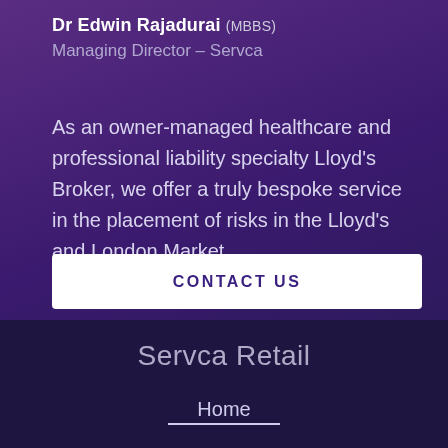Dr Edwin Rajadurai (MBBS)
Managing Director – Servca
As an owner-managed healthcare and professional liability specialty Lloyd's Broker, we offer a truly bespoke service in the placement of risks in the Lloyd's and London Market.
CONTACT US
Servca Retail
Home